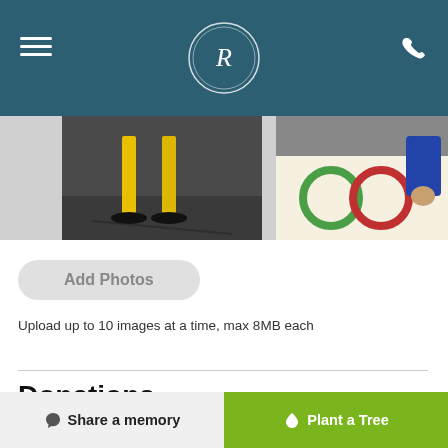R (logo)
[Figure (photo): Two partial photos: left shows legs with yellow stilts/poles on pavement; right shows colorful children's activity mat with rings]
Add Photos
Upload up to 10 images at a time, max 8MB each
Donations
Donations are being accepted for:
Stratford Perth Humane Society
Share a memory   Plant a Tree